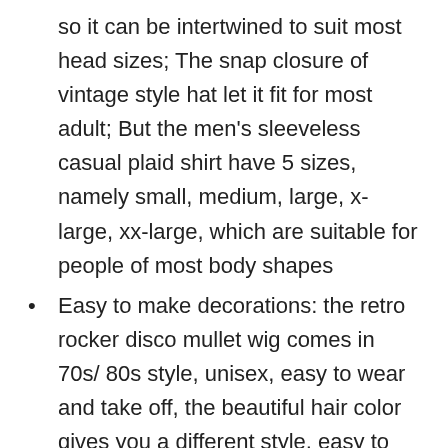so it can be intertwined to suit most head sizes; The snap closure of vintage style hat let it fit for most adult; But the men's sleeveless casual plaid shirt have 5 sizes, namely small, medium, large, x-large, xx-large, which are suitable for people of most body shapes
Easy to make decorations: the retro rocker disco mullet wig comes in 70s/ 80s style, unisex, easy to wear and take off, the beautiful hair color gives you a different style, easy to match with a variety of clothes and makeup, give you a sense of retro and charm, easy to blend with other accessories, let you bring out the joy of disco
Considerate present: the 70s/ 80s hillbilly costume are ideal as presents to your friends, family or